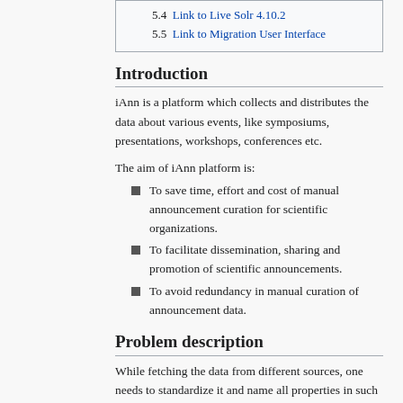5.4  Link to Live Solr 4.10.2
5.5  Link to Migration User Interface
Introduction
iAnn is a platform which collects and distributes the data about various events, like symposiums, presentations, workshops, conferences etc.
The aim of iAnn platform is:
To save time, effort and cost of manual announcement curation for scientific organizations.
To facilitate dissemination, sharing and promotion of scientific announcements.
To avoid redundancy in manual curation of announcement data.
Problem description
While fetching the data from different sources, one needs to standardize it and name all properties in such way that name itself is descriptive and makes sense. Naming